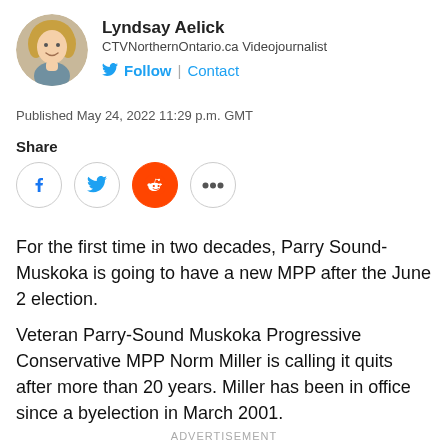[Figure (photo): Circular headshot photo of Lyndsay Aelick, a woman with blonde hair, smiling]
Lyndsay Aelick
CTVNorthernOntario.ca Videojournalist
🐦 Follow | Contact
Published May 24, 2022 11:29 p.m. GMT
Share
[Figure (other): Social share buttons: Facebook, Twitter, Reddit, More (...)]
For the first time in two decades, Parry Sound-Muskoka is going to have a new MPP after the June 2 election.
Veteran Parry-Sound Muskoka Progressive Conservative MPP Norm Miller is calling it quits after more than 20 years. Miller has been in office since a byelection in March 2001.
ADVERTISEMENT